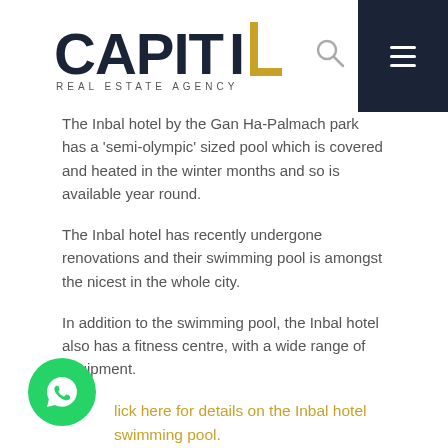CAPITUL REAL ESTATE AGENCY
The Inbal hotel by the Gan Ha-Palmach park has a 'semi-olympic' sized pool which is covered and heated in the winter months and so is available year round.
The Inbal hotel has recently undergone renovations and their swimming pool is amongst the nicest in the whole city.
In addition to the swimming pool, the Inbal hotel also has a fitness centre, with a wide range of equipment.
Click here for details on the Inbal hotel swimming pool.